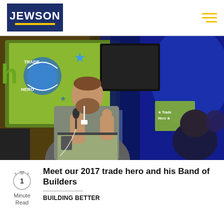JEWSON
[Figure (photo): Man with beard wearing a grey t-shirt and lanyard speaking into a microphone at a podium in front of a projection screen showing 'Trade Hero' branding with stars and blue circular design, event venue with blue lighting]
1 Minute Read
Meet our 2017 trade hero and his Band of Builders
BUILDING BETTER